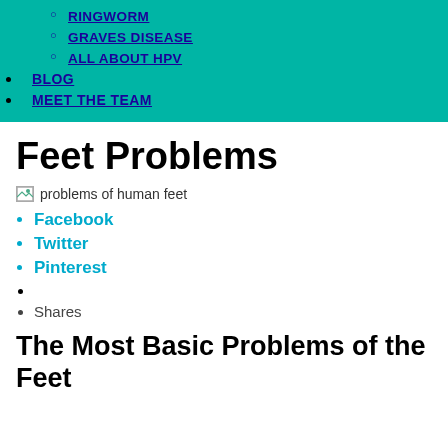RINGWORM
GRAVES DISEASE
ALL ABOUT HPV
BLOG
MEET THE TEAM
Feet Problems
[Figure (photo): problems of human feet — broken image placeholder]
Facebook
Twitter
Pinterest
Shares
The Most Basic Problems of the Feet